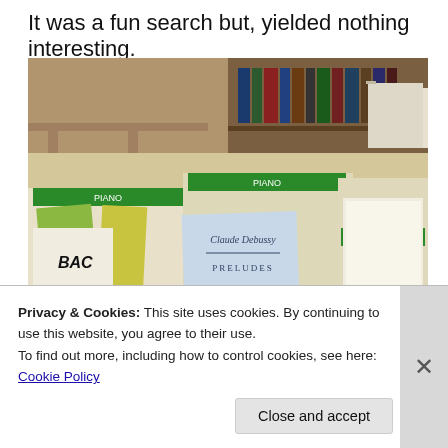It was a fun search but, yielded nothing interesting.
[Figure (photo): Photo of music sheet books in cardboard boxes with green labels reading PIANO and TWO PIANOS. A Claude Debussy PRELUDES sheet music book is visible in the foreground. Library shelves visible in the background.]
One part of the music section: full of memories from my
Privacy & Cookies: This site uses cookies. By continuing to use this website, you agree to their use.
To find out more, including how to control cookies, see here: Cookie Policy